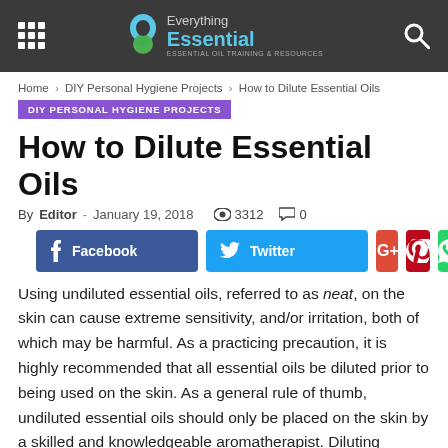Everything Essential - ESSENTIAL OIL TRAINING & RESOURCES
Home › DIY Personal Hygiene Projects › How to Dilute Essential Oils
DIY PERSONAL HYGIENE PROJECTS
How to Dilute Essential Oils
By Editor - January 19, 2018  3312  0
[Figure (other): Social sharing buttons: Facebook, Twitter, Google+, Pinterest, WhatsApp]
Using undiluted essential oils, referred to as neat, on the skin can cause extreme sensitivity, and/or irritation, both of which may be harmful. As a practicing precaution, it is highly recommended that all essential oils be diluted prior to being used on the skin. As a general rule of thumb, undiluted essential oils should only be placed on the skin by a skilled and knowledgeable aromatherapist. Diluting essential oils saves you money, and protects your health and wellbeing.